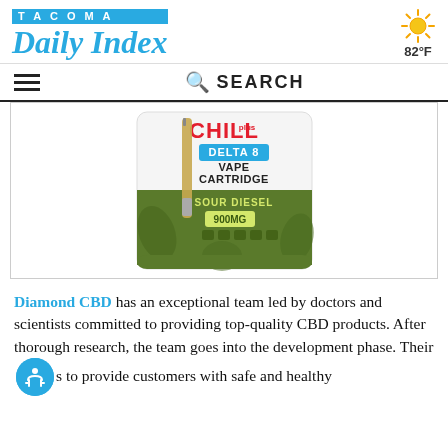TACOMA Daily Index
82°F
SEARCH
[Figure (photo): Chill Plus Delta 8 Vape Cartridge Sour Diesel 900mg product packaging showing a vape cartridge on a white and olive-green card]
Diamond CBD has an exceptional team led by doctors and scientists committed to providing top-quality CBD products. After thorough research, the team goes into the development phase. Their [accessibility icon] to provide customers with safe and healthy